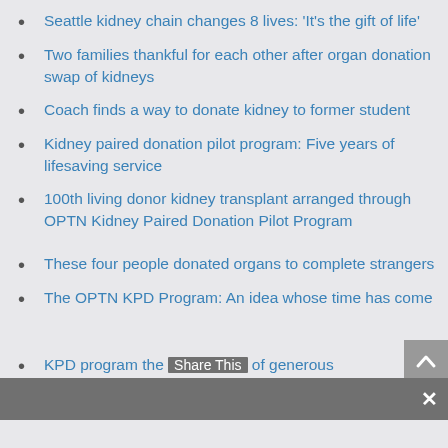Seattle kidney chain changes 8 lives: 'It's the gift of life'
Two families thankful for each other after organ donation swap of kidneys
Coach finds a way to donate kidney to former student
Kidney paired donation pilot program: Five years of lifesaving service
100th living donor kidney transplant arranged through OPTN Kidney Paired Donation Pilot Program
These four people donated organs to complete strangers
The OPTN KPD Program: An idea whose time has come
KPD program the [Share This] of generous